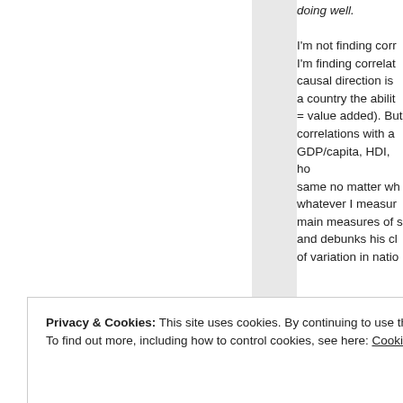doing well.

I'm not finding correlations, I'm finding correlations where causal direction is giving a country the ability (GDP = value added). But I find correlations with all measures: GDP/capita, HDI, ho... same no matter what I measure... whatever I measure... main measures of s... and debunks his claims... of variation in natio...
Privacy & Cookies: This site uses cookies. By continuing to use this website, you agree to their use. To find out more, including how to control cookies, see here: Cookie Policy